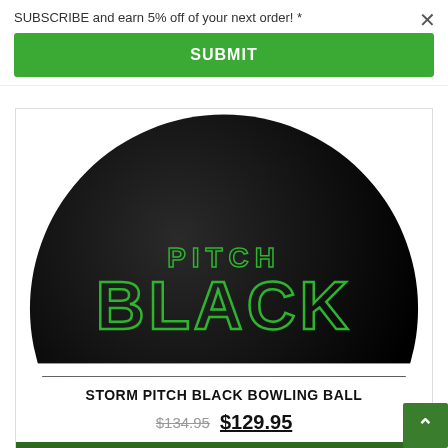SUBSCRIBE and earn 5% off of your next order! *
SUBMIT
[Figure (photo): A black bowling ball with green neon 'PITCH BLACK' lettering on its surface, shown against a white background, cropped circularly.]
STORM PITCH BLACK BOWLING BALL
$134.95  $129.95
> Select options